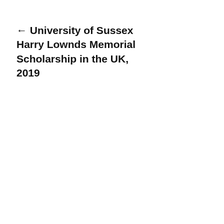← University of Sussex Harry Lownds Memorial Scholarship in the UK, 2019